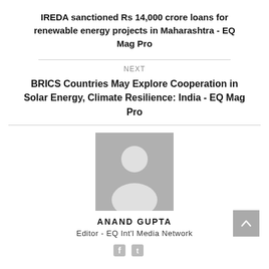IREDA sanctioned Rs 14,000 crore loans for renewable energy projects in Maharashtra - EQ Mag Pro
NEXT
BRICS Countries May Explore Cooperation in Solar Energy, Climate Resilience: India - EQ Mag Pro
[Figure (photo): Default avatar/profile placeholder image - grey silhouette of a person on grey background]
ANAND GUPTA
Editor - EQ Int'l Media Network